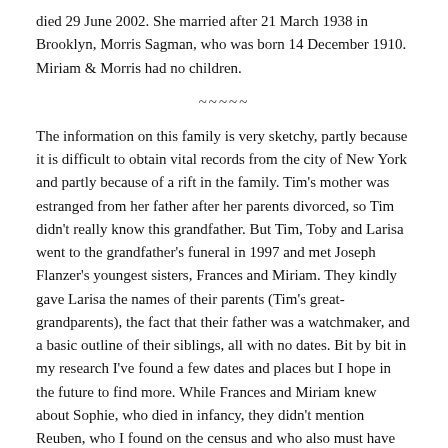died 29 June 2002. She married after 21 March 1938 in Brooklyn, Morris Sagman, who was born 14 December 1910. Miriam & Morris had no children.
~~~~~
The information on this family is very sketchy, partly because it is difficult to obtain vital records from the city of New York and partly because of a rift in the family. Tim's mother was estranged from her father after her parents divorced, so Tim didn't really know this grandfather. But Tim, Toby and Larisa went to the grandfather's funeral in 1997 and met Joseph Flanzer's youngest sisters, Frances and Miriam. They kindly gave Larisa the names of their parents (Tim's great-grandparents), the fact that their father was a watchmaker, and a basic outline of their siblings, all with no dates. Bit by bit in my research I've found a few dates and places but I hope in the future to find more. While Frances and Miriam knew about Sophie, who died in infancy, they didn't mention Reuben, who I found on the census and who also must have died young.
Update: Frances' granddaughter has contacted me and has told me the story of Reuben she heard from her grandmother.